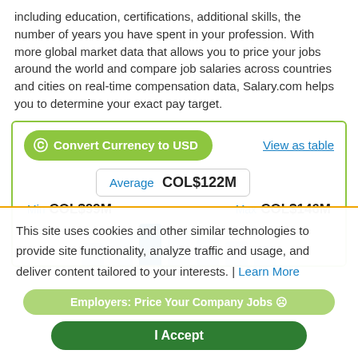including education, certifications, additional skills, the number of years you have spent in your profession. With more global market data that allows you to price your jobs around the world and compare job salaries across countries and cities on real-time compensation data, Salary.com helps you to determine your exact pay target.
[Figure (screenshot): Salary.com widget showing currency converter button, average salary COL$122M, min COL$99M, max COL$146M with bar chart visualization]
This site uses cookies and other similar technologies to provide site functionality, analyze traffic and usage, and deliver content tailored to your interests. | Learn More
Employers: Price Your Company Jobs
I Accept